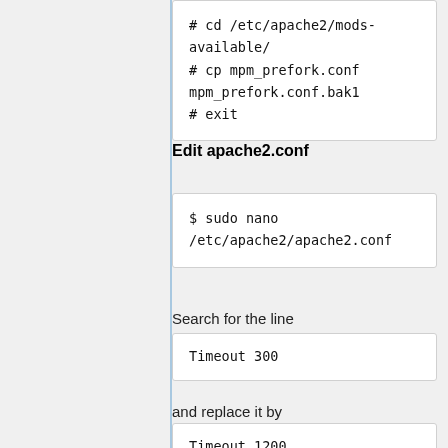# cd /etc/apache2/mods-available/
# cp mpm_prefork.conf mpm_prefork.conf.bak1
# exit
Edit apache2.conf
$ sudo nano /etc/apache2/apache2.conf
Search for the line
Timeout 300
and replace it by
Timeout 1200